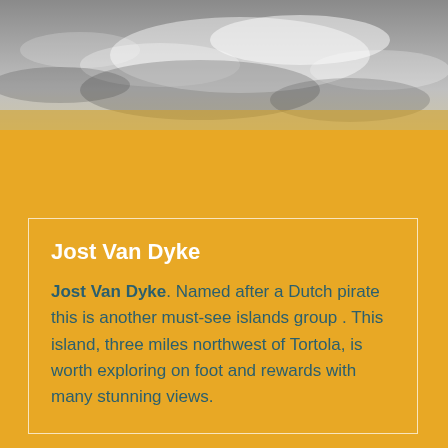[Figure (photo): Aerial or landscape photograph showing clouds and sky in grayscale tones, partial view of what appears to be an island or coastal area.]
Jost Van Dyke
Jost Van Dyke. Named after a Dutch pirate this is another must-see islands group . This island, three miles northwest of Tortola, is worth exploring on foot and rewards with many stunning views.